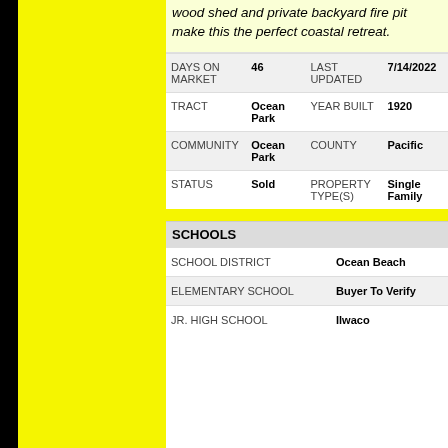wood shed and private backyard fire pit make this the perfect coastal retreat.
| Field | Value | Field | Value |
| --- | --- | --- | --- |
| DAYS ON MARKET | 46 | LAST UPDATED | 7/14/2022 |
| TRACT | Ocean Park | YEAR BUILT | 1920 |
| COMMUNITY | Ocean Park | COUNTY | Pacific |
| STATUS | Sold | PROPERTY TYPE(S) | Single Family |
SCHOOLS
| Field | Value |
| --- | --- |
| SCHOOL DISTRICT | Ocean Beach |
| ELEMENTARY SCHOOL | Buyer To Verify |
| JR. HIGH SCHOOL | Ilwaco |